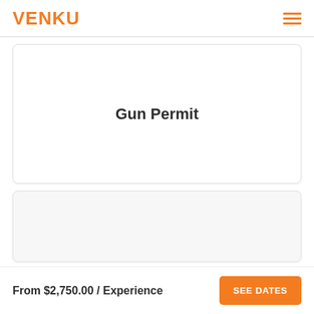VENKU
[Figure (other): Card with Gun Permit title text centered on white background]
Gun Permit
[Figure (other): Second card with white/light gray background, partially visible]
From $2,750.00 / Experience
SEE DATES